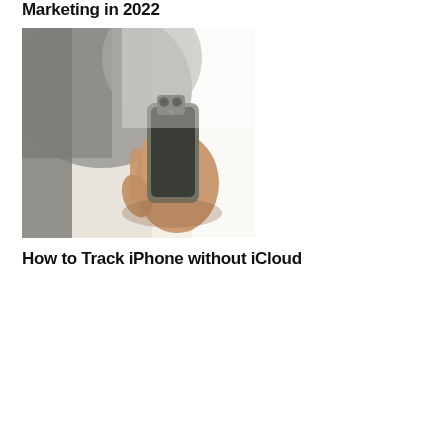Marketing in 2022
[Figure (photo): A person's hand holding a modern smartphone (iPhone) against a blurred light background, person wearing a grey blazer]
How to Track iPhone without iCloud